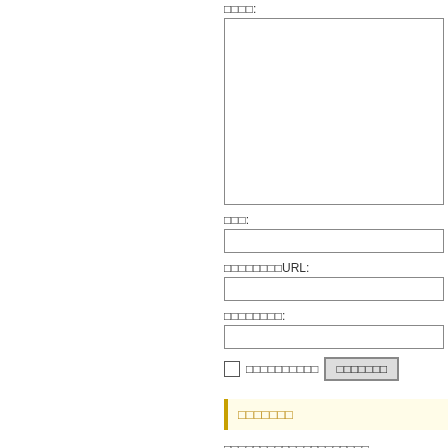□□□□:
(textarea box)
□□□:
(input box)
□□□□□□□□URL:
(input box)
□□□□□□□□:
(input box)
□ □□□□□□□□□  □□□□□□□
□□□□□□□
□□□□□□□□□□□□□□□□□□□□
□□□□□□□□URL□□□□□□□□□□□□□□□□□□□□□□□□□□□□□□□□